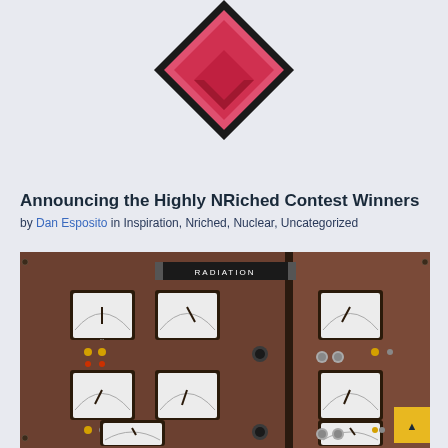[Figure (logo): Geometric diamond/chevron logo in red, pink and black colors at the top of the page]
Announcing the Highly NRiched Contest Winners
by Dan Esposito in Inspiration, Nriched, Nuclear, Uncategorized
[Figure (photo): Vintage nuclear radiation control panel with multiple analog gauges/meters, dials, buttons and knobs on a dark brown metallic panel. A label reading RADIATION is visible at the top center.]